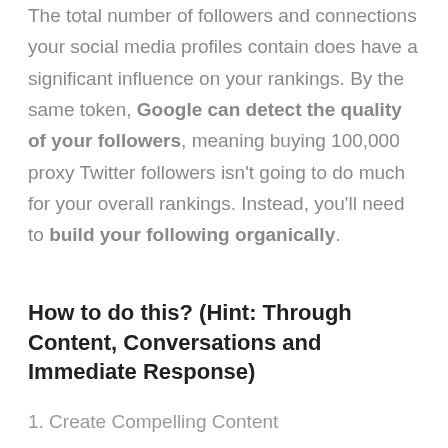The total number of followers and connections your social media profiles contain does have a significant influence on your rankings. By the same token, Google can detect the quality of your followers, meaning buying 100,000 proxy Twitter followers isn't going to do much for your overall rankings. Instead, you'll need to build your following organically.
How to do this? (Hint: Through Content, Conversations and Immediate Response)
1. Create Compelling Content